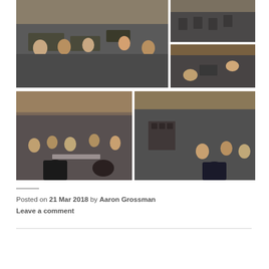[Figure (photo): Collage of five classroom photos showing students sitting in circles and groups on the floor and in chairs in a school classroom, engaged in discussion or listening activities.]
Posted on 21 Mar 2018 by Aaron Grossman
Leave a comment